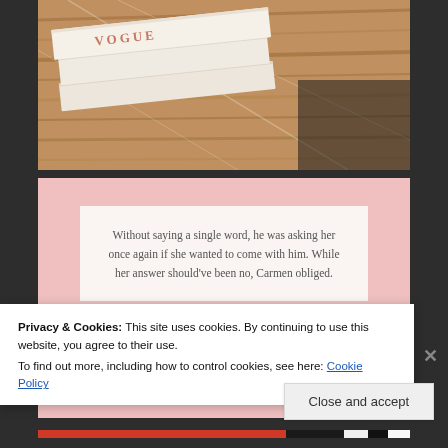[Figure (photo): Photo of white books stacked on a rustic wooden surface. The top book shows the word VOGUE in pink/rose lettering.]
[Figure (illustration): Pink background card containing a white inset card with centered italic text: 'Without saying a single word, he was asking her once again if she wanted to come with him. While her answer should've been no, Carmen obliged.']
Privacy & Cookies: This site uses cookies. By continuing to use this website, you agree to their use.
To find out more, including how to control cookies, see here: Cookie Policy
Close and accept